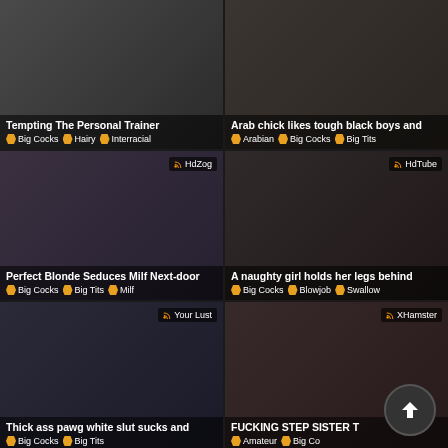[Figure (screenshot): Video thumbnail grid of adult content website showing 6 video cards in 2-column layout]
Tempting The Personal Trainer
Big Cocks  Hairy  Interracial
Arab chick likes tough black boys and
Arabian  Big Cocks  Big Tits
HdZog
Perfect Blonde Seduces Milf Next-door
Big Cocks  Big Tits  Milf
HdTube
A naughty girl holds her legs behind
Big Cocks  Blowjob  Swallow
Your Lust
Thick ass pawg white slut sucks and
Big Cocks  Big Tits
XHamster
FUCKING STEP SISTER T
Amateur  Big Co